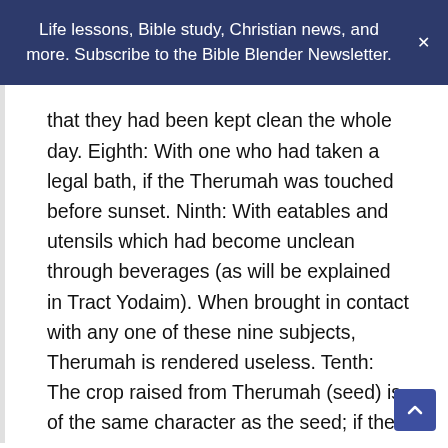Life lessons, Bible study, Christian news, and more. Subscribe to the Bible Blender Newsletter.
that they had been kept clean the whole day. Eighth: With one who had taken a legal bath, if the Therumah was touched before sunset. Ninth: With eatables and utensils which had become unclean through beverages (as will be explained in Tract Yodaim). When brought in contact with any one of these nine subjects, Therumah is rendered useless. Tenth: The crop raised from Therumah (seed) is of the same character as the seed; if the latter was clean when planted the crop is